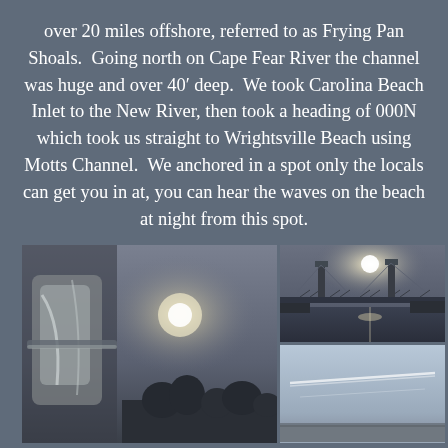over 20 miles offshore, referred to as Frying Pan Shoals.  Going north on Cape Fear River the channel was huge and over 40′ deep.  We took Carolina Beach Inlet to the New River, then took a heading of 000N which took us straight to Wrightsville Beach using Motts Channel.  We anchored in a spot only the locals can get you in at, you can hear the waves on the beach at night from this spot.
[Figure (photo): Three photos arranged in a grid: a large photo on the left showing boat hardware with a hazy sun and treeline silhouette; top-right photo showing a bridge over water with sun glare; bottom-right photo showing a pale blue sky with a contrail.]